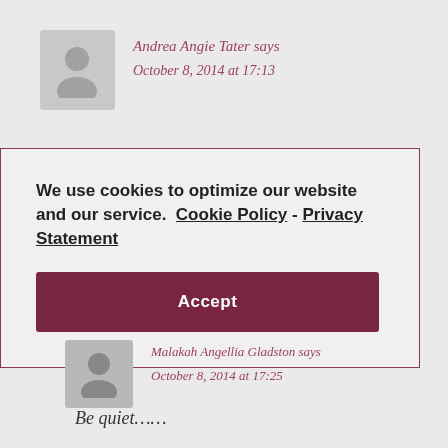Andrea Angie Tater says
October 8, 2014 at 17:13
We use cookies to optimize our website and our service.  Cookie Policy  -  Privacy Statement
Accept
Malakah Angellia Gladston says
October 8, 2014 at 17:25
Be quiet……